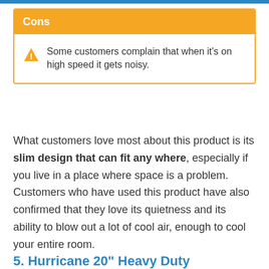Cons
Some customers complain that when it's on high speed it gets noisy.
What customers love most about this product is its slim design that can fit any where, especially if you live in a place where space is a problem. Customers who have used this product have also confirmed that they love its quietness and its ability to blow out a lot of cool air, enough to cool your entire room.
5. Hurricane 20" Heavy Duty